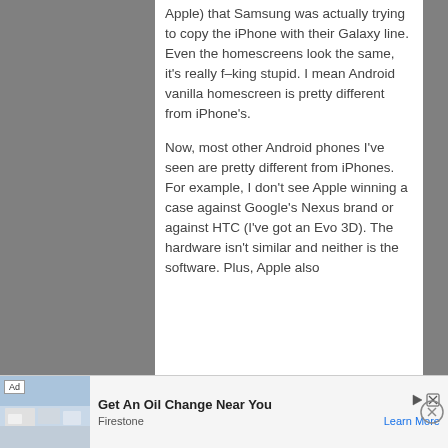Apple) that Samsung was actually trying to copy the iPhone with their Galaxy line. Even the homescreens look the same, it's really f–king stupid. I mean Android vanilla homescreen is pretty different from iPhone's.
Now, most other Android phones I've seen are pretty different from iPhones. For example, I don't see Apple winning a case against Google's Nexus brand or against HTC (I've got an Evo 3D). The hardware isn't similar and neither is the software. Plus, Apple also
[Figure (other): Advertisement banner for Firestone oil change service with store photo, 'Get An Oil Change Near You' headline, and 'Learn More' link]